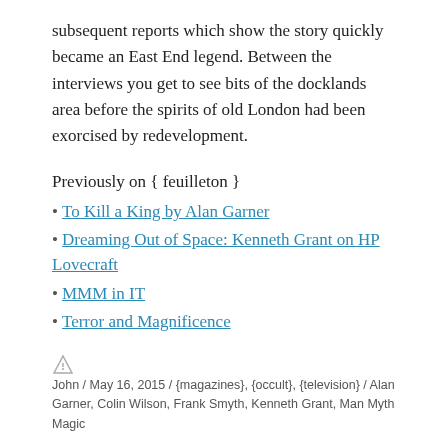subsequent reports which show the story quickly became an East End legend. Between the interviews you get to see bits of the docklands area before the spirits of old London had been exorcised by redevelopment.
Previously on { feuilleton }
To Kill a King by Alan Garner
Dreaming Out of Space: Kenneth Grant on HP Lovecraft
MMM in IT
Terror and Magnificence
John / May 16, 2015 / {magazines}, {occult}, {television} / Alan Garner, Colin Wilson, Frank Smyth, Kenneth Grant, Man Myth Magic